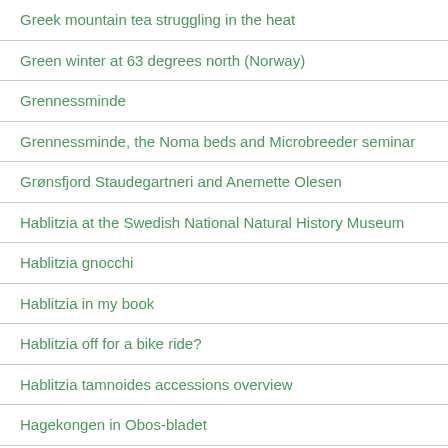Greek mountain tea struggling in the heat
Green winter at 63 degrees north (Norway)
Grennessminde
Grennessminde, the Noma beds and Microbreeder seminar
Grønsfjord Staudegartneri and Anemette Olesen
Hablitzia at the Swedish National Natural History Museum
Hablitzia gnocchi
Hablitzia in my book
Hablitzia off for a bike ride?
Hablitzia tamnoides accessions overview
Hagekongen in Obos-bladet
Happy Birthday ATW
Hardanger Perennjalen